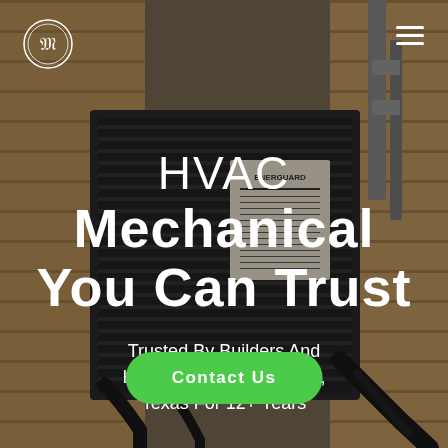[Figure (photo): Outdoor HVAC air conditioning unit against wooden wall background, with electrical conduit on the right side]
HVAC Mechanical You Can Trust
Trusted By Builders And Homeowners In Houston, Texas For 12+ Years
Contact Us